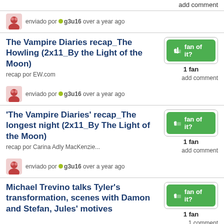add comment
enviado por g3u16 over a year ago
The Vampire Diaries recap_The Howling (2x11_By the Light of the Moon)
recap por EW.com
1 fan
add comment
enviado por g3u16 over a year ago
'The Vampire Diaries' recap_The longest night (2x11_By The Light of the Moon)
recap por Carina Adly MacKenzie...
1 fan
add comment
enviado por g3u16 over a year ago
Michael Trevino talks Tyler's transformation, scenes with Damon and Stefan, Jules' motives
1 fan
1 comment
enviado por DelenaLover over a year ago
'The Vampire Diaries' Set Visit: Cliffhangers, On-Set Pranks & ... a